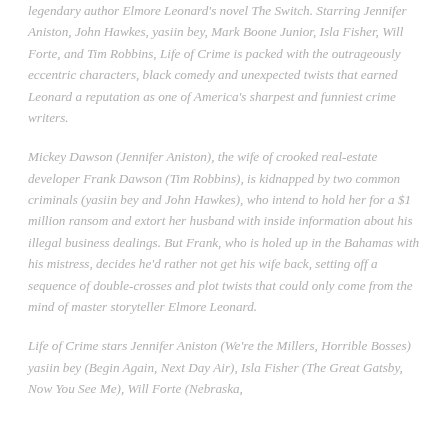legendary author Elmore Leonard's novel The Switch. Starring Jennifer Aniston, John Hawkes, yasiin bey, Mark Boone Junior, Isla Fisher, Will Forte, and Tim Robbins, Life of Crime is packed with the outrageously eccentric characters, black comedy and unexpected twists that earned Leonard a reputation as one of America's sharpest and funniest crime writers.
Mickey Dawson (Jennifer Aniston), the wife of crooked real-estate developer Frank Dawson (Tim Robbins), is kidnapped by two common criminals (yasiin bey and John Hawkes), who intend to hold her for a $1 million ransom and extort her husband with inside information about his illegal business dealings. But Frank, who is holed up in the Bahamas with his mistress, decides he'd rather not get his wife back, setting off a sequence of double-crosses and plot twists that could only come from the mind of master storyteller Elmore Leonard.
Life of Crime stars Jennifer Aniston (We're the Millers, Horrible Bosses) yasiin bey (Begin Again, Next Day Air), Isla Fisher (The Great Gatsby, Now You See Me), Will Forte (Nebraska,